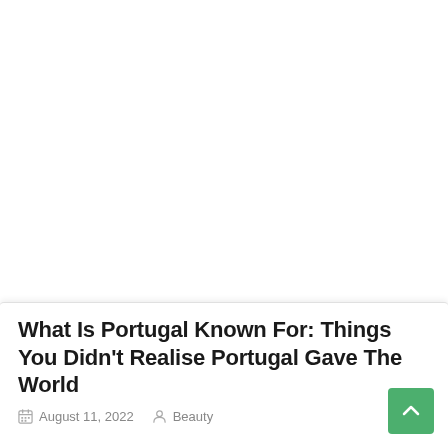[Figure (photo): Large image area at the top of the page, appears blank/white (image not loaded)]
What Is Portugal Known For: Things You Didn't Realise Portugal Gave The World
August 11, 2022   Beauty